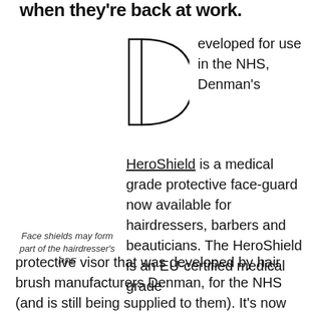when they're back at work.
[Figure (illustration): Large decorative drop capital letter D rendered as an outline shape — a vertical rectangle on the left connected to a large D-curve on the right, forming a bold letter D in outline style.]
eveloped for use in the NHS, Denman's HeroShield is a medical grade protective face-guard now available for hairdressers, barbers and beauticians. The HeroShield is an EU-certified medical grade
Face shields may form part of the hairdresser's PPE
protective visor that was developed by hair brush manufacturers Denman, for the NHS (and is still being supplied to them). It's now available to hair